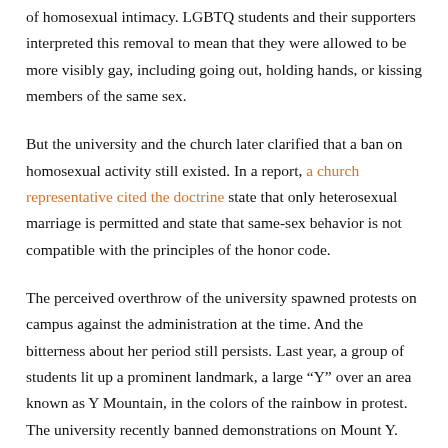of homosexual intimacy. LGBTQ students and their supporters interpreted this removal to mean that they were allowed to be more visibly gay, including going out, holding hands, or kissing members of the same sex.
But the university and the church later clarified that a ban on homosexual activity still existed. In a report, a church representative cited the doctrine state that only heterosexual marriage is permitted and state that same-sex behavior is not compatible with the principles of the honor code.
The perceived overthrow of the university spawned protests on campus against the administration at the time. And the bitterness about her period still persists. Last year, a group of students lit up a prominent landmark, a large “Y” over an area known as Y Mountain, in the colors of the rainbow in protest. The university recently banned demonstrations on Mount Y.
The Department of Education is investigating whether the university’s